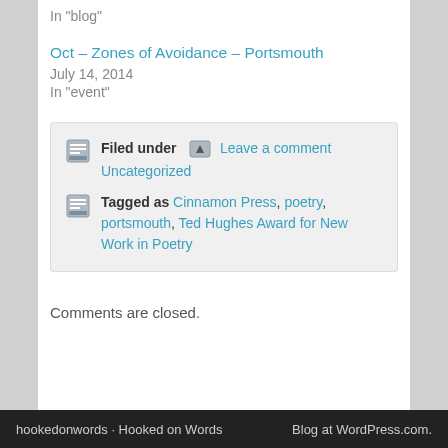In "blog"
Oct – Zones of Avoidance – Portsmouth
July 14, 2014
In "event"
Filed under  Leave a comment  Uncategorized
Tagged as Cinnamon Press, poetry, portsmouth, Ted Hughes Award for New Work in Poetry
Comments are closed.
hookedonwords · Hooked on Words    Blog at WordPress.com.